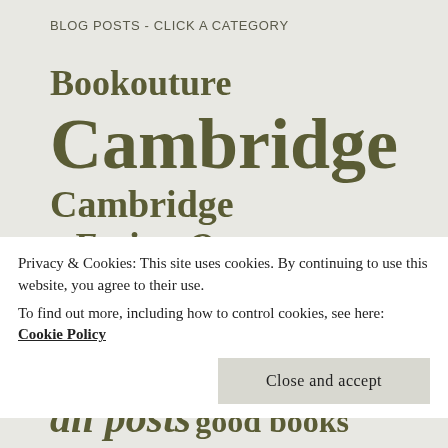BLOG POSTS - CLICK A CATEGORY
Bookouture
Cambridge
Cambridge - Eating Out
Cambridge - Events
Cambridge A-Z
Clare
Chose books
all posts  good books
Privacy & Cookies: This site uses cookies. By continuing to use this website, you agree to their use.
To find out more, including how to control cookies, see here: Cookie Policy
Close and accept